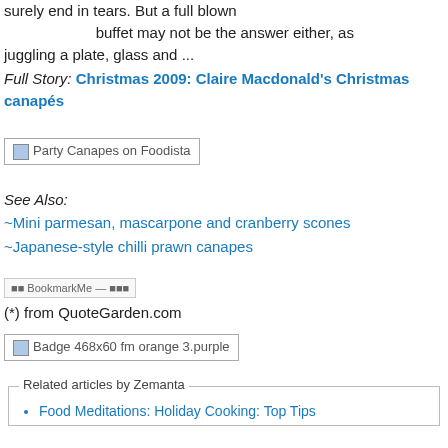surely end in tears. But a full blown buffet may not be the answer either, as juggling a plate, glass and ...
Full Story: Christmas 2009: Claire Macdonald's Christmas canapés
[Figure (other): Party Canapes on Foodista image placeholder]
See Also:
~Mini parmesan, mascarpone and cranberry scones
~Japanese-style chilli prawn canapes
[Figure (other): Bookmark/social sharing widget image placeholder]
(*) from QuoteGarden.com
[Figure (other): Badge 468x60 fm orange 3.purple]
Related articles by Zemanta
Food Meditations: Holiday Cooking: Top Tips